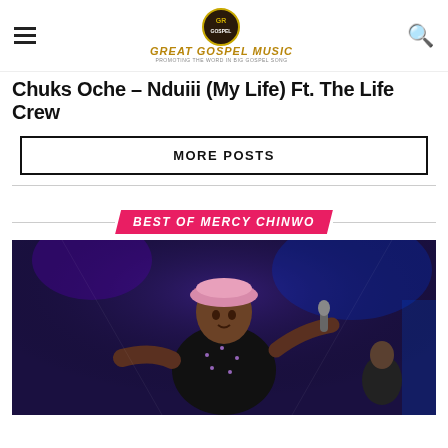Great Gospel Music
Chuks Oche – Nduiii (My Life) Ft. The Life Crew
MORE POSTS
BEST OF MERCY CHINWO
[Figure (photo): A female gospel artist performing on stage, wearing a pink beret and black sequined outfit, holding a microphone with arms outstretched, against a dark blue stage backdrop with lights.]